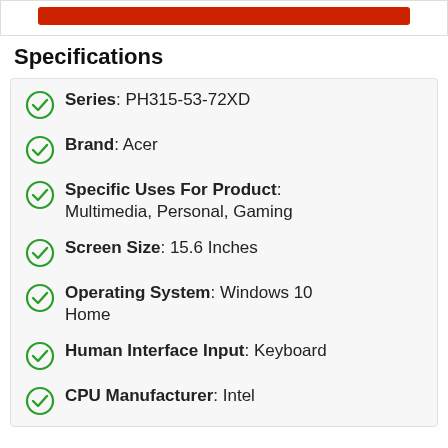[Figure (other): Red button/banner at top of page]
Specifications
Series: PH315-53-72XD
Brand: Acer
Specific Uses For Product: Multimedia, Personal, Gaming
Screen Size: 15.6 Inches
Operating System: Windows 10 Home
Human Interface Input: Keyboard
CPU Manufacturer: Intel